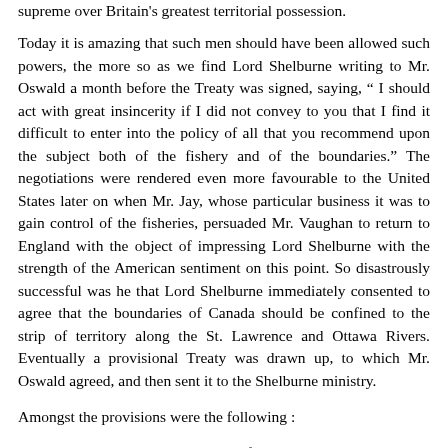supreme over Britain's greatest territorial possession.
Today it is amazing that such men should have been allowed such powers, the more so as we find Lord Shelburne writing to Mr. Oswald a month before the Treaty was signed, saying, “ I should act with great insincerity if I did not convey to you that I find it difficult to enter into the policy of all that you recommend upon the subject both of the fishery and of the boundaries.” The negotiations were rendered even more favourable to the United States later on when Mr. Jay, whose particular business it was to gain control of the fisheries, persuaded Mr. Vaughan to return to England with the object of impressing Lord Shelburne with the strength of the American sentiment on this point. So disastrously successful was he that Lord Shelburne immediately consented to agree that the boundaries of Canada should be confined to the strip of territory along the St. Lawrence and Ottawa Rivers. Eventually a provisional Treaty was drawn up, to which Mr. Oswald agreed, and then sent it to the Shelburne ministry.
Amongst the provisions were the following :
1. Independence, and a settlement of the boundaries between the thirteen states and the King’s colonies.
2. The cession to the thirteen states of that part of Canada which was added to it by the Quebec Act of 1774. These were considered